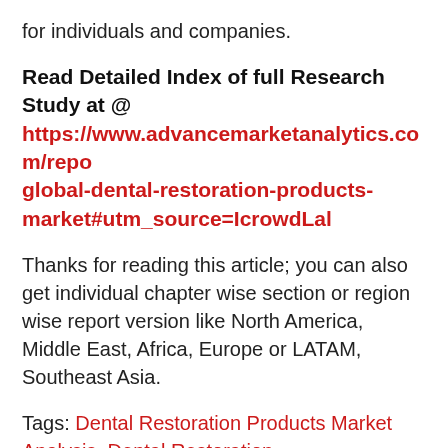for individuals and companies.
Read Detailed Index of full Research Study at @ https://www.advancemarketanalytics.com/repo global-dental-restoration-products-market#utm_source=IcrowdLal
Thanks for reading this article; you can also get individual chapter wise section or region wise report version like North America, Middle East, Africa, Europe or LATAM, Southeast Asia.
Tags: Dental Restoration Products Market Analysis, Dental Restoration